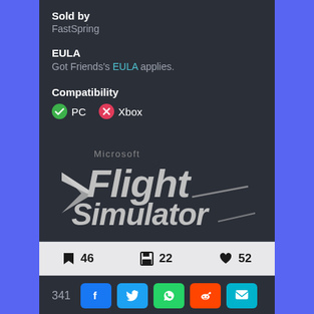Sold by
FastSpring
EULA
Got Friends's EULA applies.
Compatibility
PC  Xbox
[Figure (logo): Microsoft Flight Simulator logo — stylized silver/grey italic text with wing graphic and small 'Microsoft' text above]
46   22   52
341